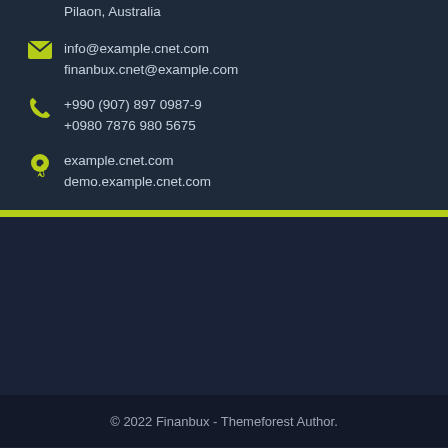Pilaon, Australia
info@example.cnet.com
finanbux.cnet@example.com
+990 (907) 897 0987-9
+0980 7876 980 5675
example.cnet.com
demo.example.cnet.com
© 2022 Finanbux - Themeforest Author.